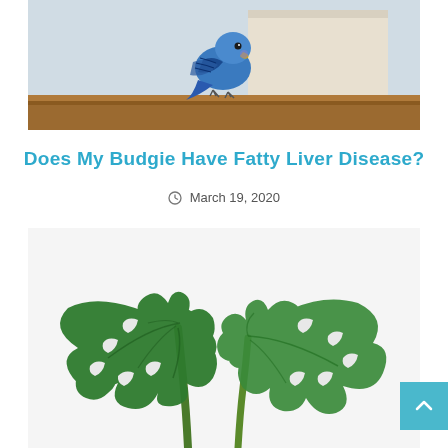[Figure (photo): A blue budgie/parakeet perched on a wooden shelf edge, photographed against a light background. The bird has blue and white plumage with dark wing markings.]
Does My Budgie Have Fatty Liver Disease?
March 19, 2020
[Figure (photo): Two large green monstera (swiss cheese plant) leaves with characteristic splits and holes, on long green stems, photographed against a white background.]